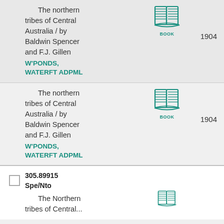The northern tribes of Central Australia / by Baldwin Spencer and F.J. Gillen
W'PONDS, WATERFT ADPML
1904
[Figure (illustration): Book icon with label BOOK]
The northern tribes of Central Australia / by Baldwin Spencer and F.J. Gillen
W'PONDS, WATERFT ADPML
1904
[Figure (illustration): Book icon with label BOOK]
305.89915
Spe/Nto
The Northern tribes of Central...
[Figure (illustration): Book icon partially visible]